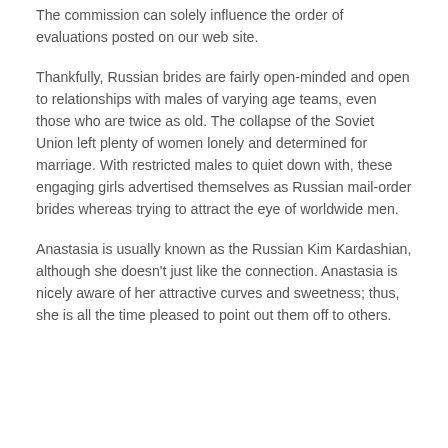The commission can solely influence the order of evaluations posted on our web site.
Thankfully, Russian brides are fairly open-minded and open to relationships with males of varying age teams, even those who are twice as old. The collapse of the Soviet Union left plenty of women lonely and determined for marriage. With restricted males to quiet down with, these engaging girls advertised themselves as Russian mail-order brides whereas trying to attract the eye of worldwide men.
Anastasia is usually known as the Russian Kim Kardashian, although she doesn’t just like the connection. Anastasia is nicely aware of her attractive curves and sweetness; thus, she is all the time pleased to point out them off to others.